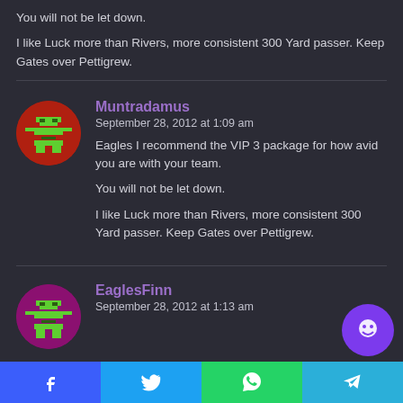You will not be let down.

I like Luck more than Rivers, more consistent 300 Yard passer. Keep Gates over Pettigrew.
Muntradamus
September 28, 2012 at 1:09 am
Eagles I recommend the VIP 3 package for how avid you are with your team.

You will not be let down.

I like Luck more than Rivers, more consistent 300 Yard passer. Keep Gates over Pettigrew.
EaglesFinn
September 28, 2012 at 1:13 am